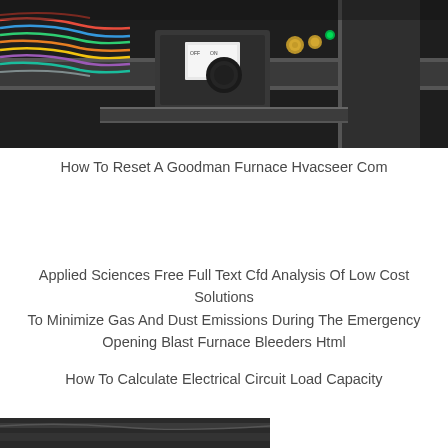[Figure (photo): Close-up photo of a furnace control valve/gas valve assembly with colorful wiring and brass fittings, mounted on dark metal piping]
How To Reset A Goodman Furnace Hvacseer Com
Applied Sciences Free Full Text Cfd Analysis Of Low Cost Solutions To Minimize Gas And Dust Emissions During The Emergency Opening Blast Furnace Bleeders Html
How To Calculate Electrical Circuit Load Capacity
[Figure (photo): Partial view of another furnace or electrical component photo at the bottom of the page]